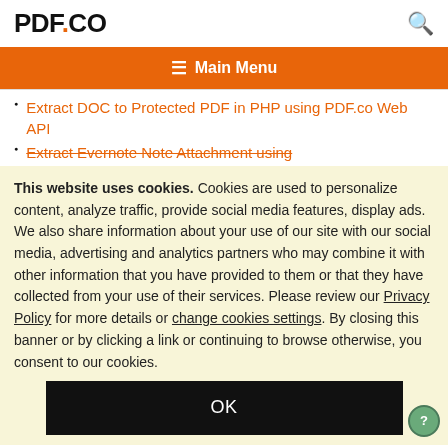PDF.CO
≡ Main Menu
Extract DOC to Protected PDF in PHP using PDF.co Web API
Extract Evernote Note Attachment using
This website uses cookies. Cookies are used to personalize content, analyze traffic, provide social media features, display ads. We also share information about your use of our site with our social media, advertising and analytics partners who may combine it with other information that you have provided to them or that they have collected from your use of their services. Please review our Privacy Policy for more details or change cookies settings. By closing this banner or by clicking a link or continuing to browse otherwise, you consent to our cookies.
OK